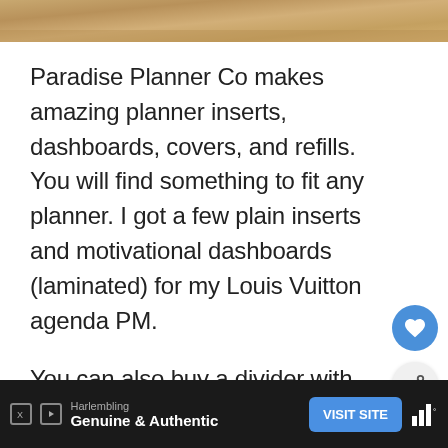[Figure (photo): Top portion of a golden/tan textured surface, likely a Louis Vuitton agenda or planner cover]
Paradise Planner Co makes amazing planner inserts, dashboards, covers, and refills. You will find something to fit any planner. I got a few plain inserts and motivational dashboards (laminated) for my Louis Vuitton agenda PM.
You can also buy a divider with po... stickers, and tabs to organize your planner
[Figure (photo): What's Next widget showing a circular avatar photo of a person with a hat in front of mountains/scenery, with text 'WHAT'S NEXT → Canada Bucket List...']
Harlembling
Genuine & Authentic